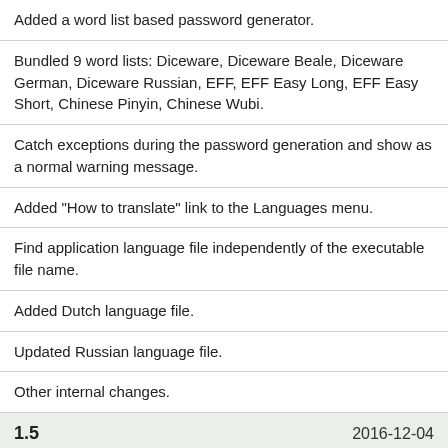Added a word list based password generator.
Bundled 9 word lists: Diceware, Diceware Beale, Diceware German, Diceware Russian, EFF, EFF Easy Long, EFF Easy Short, Chinese Pinyin, Chinese Wubi.
Catch exceptions during the password generation and show as a normal warning message.
Added "How to translate" link to the Languages menu.
Find application language file independently of the executable file name.
Added Dutch language file.
Updated Russian language file.
Other internal changes.
1.5   2016-12-04
1.4.0.3 Beta   2016-12-04
Added Swedish translation file. Thanks to Åke Engelbrektson.
1.4.0.2 Beta   2016-03-31